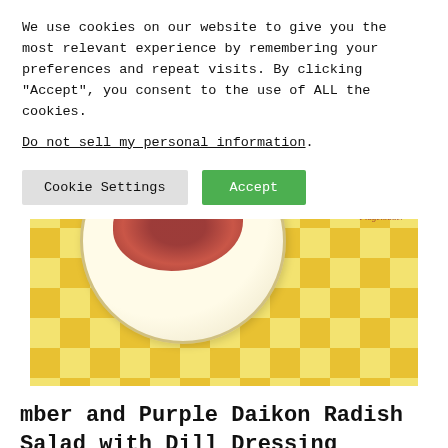We use cookies on our website to give you the most relevant experience by remembering your preferences and repeat visits. By clicking "Accept", you consent to the use of ALL the cookies.
Do not sell my personal information.
Cookie Settings  Accept
[Figure (photo): Overhead view of a salad on a plate over a yellow and white checkered tablecloth. A watermark reading 'Flugelbauer' appears in the top right.]
mber and Purple Daikon Radish Salad with Dill Dressing